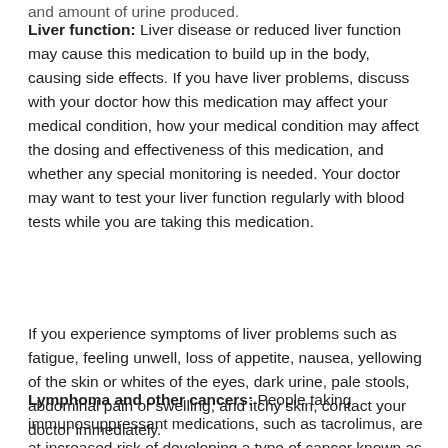and amount of urine produced.
Liver function: Liver disease or reduced liver function may cause this medication to build up in the body, causing side effects. If you have liver problems, discuss with your doctor how this medication may affect your medical condition, how your medical condition may affect the dosing and effectiveness of this medication, and whether any special monitoring is needed. Your doctor may want to test your liver function regularly with blood tests while you are taking this medication.
If you experience symptoms of liver problems such as fatigue, feeling unwell, loss of appetite, nausea, yellowing of the skin or whites of the eyes, dark urine, pale stools, abdominal pain or swelling, and itchy skin, contact your doctor immediately.
Lymphoma and other cancers: People taking immunosuppressant medications, such as tacrolimus, are at increased risk of developing a type of cancer known as lymphoma and certain types of skin cancer. This risk is related